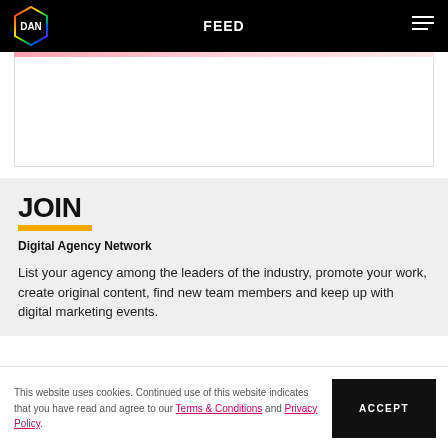FEED
[Figure (logo): DAN hexagonal logo with rainbow-colored border]
[Figure (illustration): White card area with pink gradient strip at top]
JOIN
Digital Agency Network
List your agency among the leaders of the industry, promote your work, create original content, find new team members and keep up with digital marketing events.
This website uses cookies. Continued use of this website indicates that you have read and agree to our Terms & Conditions and Privacy Policy.